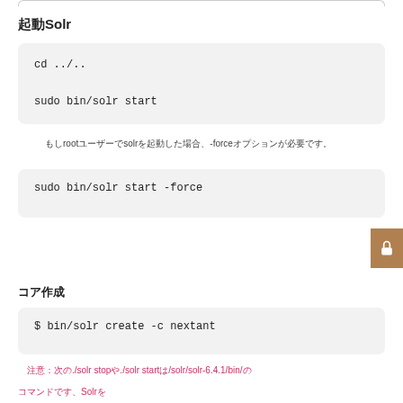起動Solr
cd ../..  sudo bin/solr start
もしrootユーザーでsolrを起動した場合、-forceオプションが必要です。
sudo bin/solr start -force
コア作成
$ bin/solr create -c nextant
注意：次の./solr stopや./solr startは/solr/solr-6.4.1/bin/の
コマンドです、Solrを